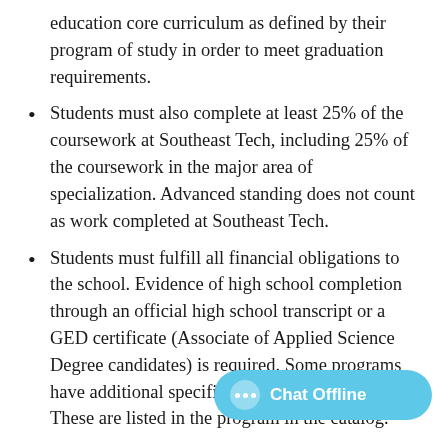education core curriculum as defined by their program of study in order to meet graduation requirements.
Students must also complete at least 25% of the coursework at Southeast Tech, including 25% of the coursework in the major area of specialization. Advanced standing does not count as work completed at Southeast Tech.
Students must fulfill all financial obligations to the school. Evidence of high school completion through an official high school transcript or a GED certificate (Associate of Applied Science Degree candidates) is required. Some programs have additional specific graduation requirements. These are listed in the program in the catalog.